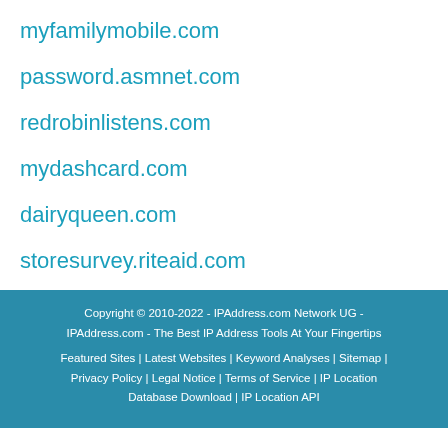myfamilymobile.com
password.asmnet.com
redrobinlistens.com
mydashcard.com
dairyqueen.com
storesurvey.riteaid.com
Copyright © 2010-2022 - IPAddress.com Network UG - IPAddress.com - The Best IP Address Tools At Your Fingertips
Featured Sites | Latest Websites | Keyword Analyses | Sitemap | Privacy Policy | Legal Notice | Terms of Service | IP Location Database Download | IP Location API